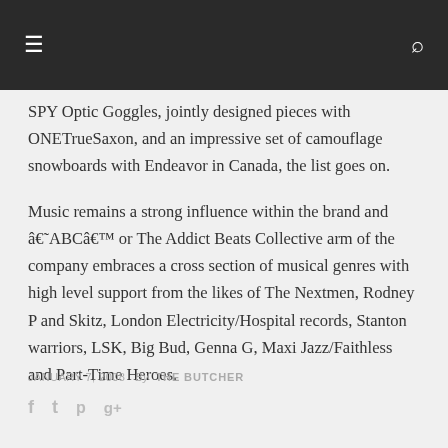≡  🔍
SPY Optic Goggles, jointly designed pieces with ONETrueSaxon, and an impressive set of camouflage snowboards with Endeavor in Canada, the list goes on.

Music remains a strong influence within the brand and â€˜ABCâ€™ or The Addict Beats Collective arm of the company embraces a cross section of musical genres with high level support from the likes of The Nextmen, Rodney P and Skitz, London Electricity/Hospital records, Stanton warriors, LSK, Big Bud, Genna G, Maxi Jazz/Faithless and Part-Time Heroes.
JANUARY 7, 2008  By THE BUTCHER
[Figure (other): Social media icons: Facebook, Twitter, Pinterest, Google+]